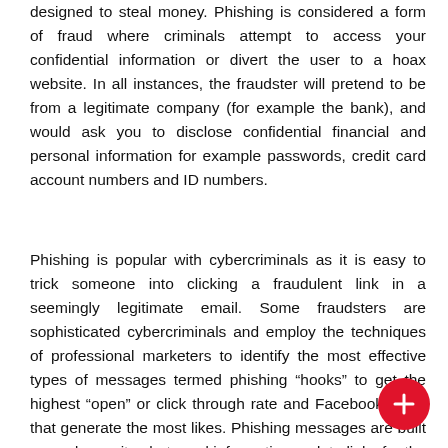designed to steal money. Phishing is considered a form of fraud where criminals attempt to access your confidential information or divert the user to a hoax website. In all instances, the fraudster will pretend to be from a legitimate company (for example the bank), and would ask you to disclose confidential financial and personal information for example passwords, credit card account numbers and ID numbers.
Phishing is popular with cybercriminals as it is easy to trick someone into clicking a fraudulent link in a seemingly legitimate email. Some fraudsters are sophisticated cybercriminals and employ the techniques of professional marketers to identify the most effective types of messages termed phishing “hooks” to get the highest “open” or click through rate and Facebook posts that generate the most likes. Phishing messages are built around security alerts and information update links for the financial services sector.